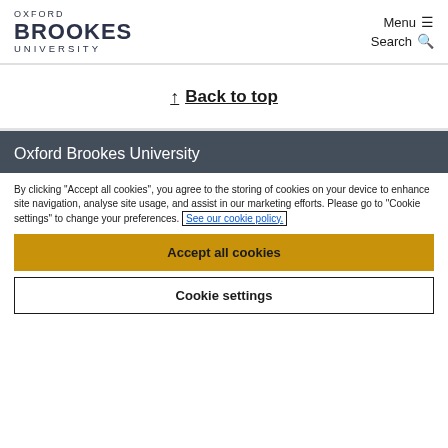OXFORD BROOKES UNIVERSITY — Menu ☰ Search 🔍
↑ Back to top
Oxford Brookes University
By clicking "Accept all cookies", you agree to the storing of cookies on your device to enhance site navigation, analyse site usage, and assist in our marketing efforts. Please go to "Cookie settings" to change your preferences. See our cookie policy.
Accept all cookies
Cookie settings